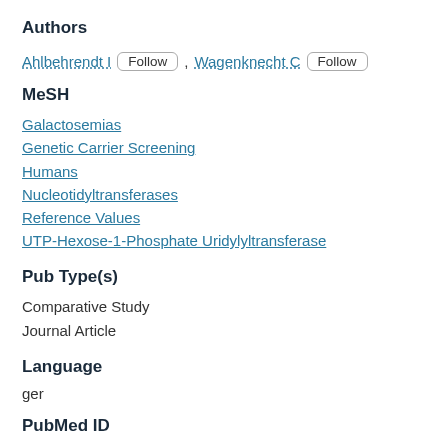Authors
Ahlbehrendt I  Follow  , Wagenknecht C  Follow
MeSH
Galactosemias
Genetic Carrier Screening
Humans
Nucleotidyltransferases
Reference Values
UTP-Hexose-1-Phosphate Uridylyltransferase
Pub Type(s)
Comparative Study
Journal Article
Language
ger
PubMed ID
6091357